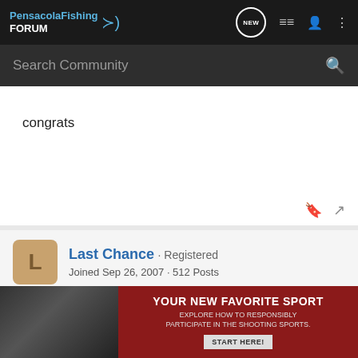PensacolaFishing FORUM
Search Community
congrats
Last Chance · Registered
Joined Sep 26, 2007 · 512 Posts
#10 · Oct 4, 2007
Congrats on the first king!Did you get a weight or length on him so you h… two?Nice fish thou…